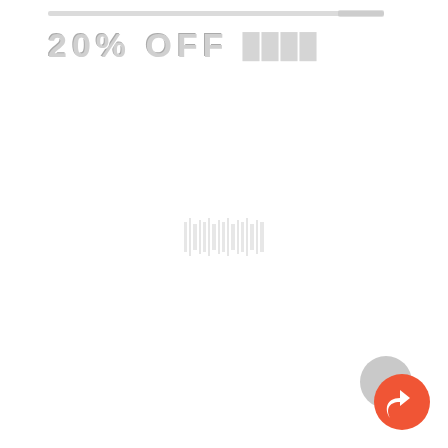[Figure (other): Thin horizontal bar/line near top of page, partially redacted/blurred]
20% OFF ████
[Figure (other): Small barcode-like vertical bars in center of page, blurred/redacted]
[Figure (other): Share button icon - coral/orange circle with white share arrow, overlapping grey circle, bottom right corner]